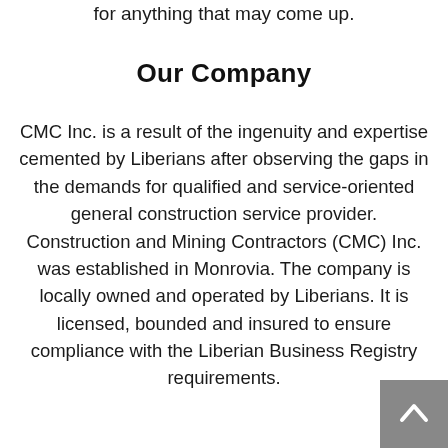for anything that may come up.
Our Company
CMC Inc. is a result of the ingenuity and expertise cemented by Liberians after observing the gaps in the demands for qualified and service-oriented general construction service provider. Construction and Mining Contractors (CMC) Inc. was established in Monrovia. The company is locally owned and operated by Liberians. It is licensed, bounded and insured to ensure compliance with the Liberian Business Registry requirements.